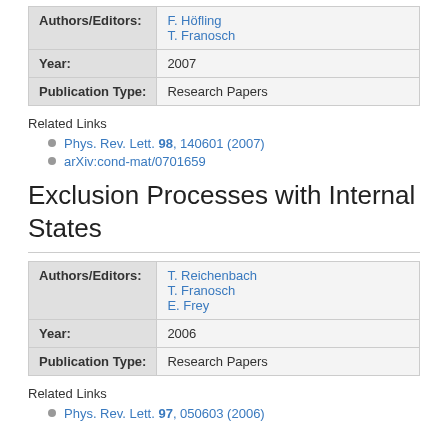| Authors/Editors: |  |
| --- | --- |
| Authors/Editors: | F. Höfling
T. Franosch |
| Year: | 2007 |
| Publication Type: | Research Papers |
Related Links
Phys. Rev. Lett. 98, 140601 (2007)
arXiv:cond-mat/0701659
Exclusion Processes with Internal States
| Authors/Editors: |  |
| --- | --- |
| Authors/Editors: | T. Reichenbach
T. Franosch
E. Frey |
| Year: | 2006 |
| Publication Type: | Research Papers |
Related Links
Phys. Rev. Lett. 97, 050603 (2006)